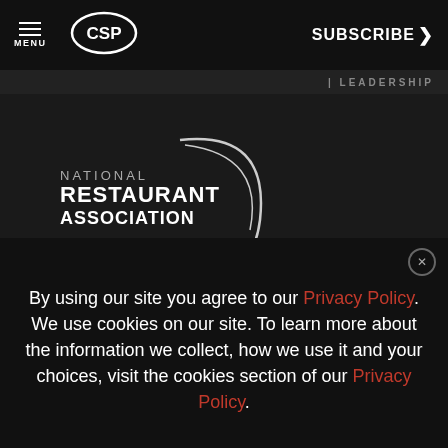MENU | CSP | SUBSCRIBE >
| LEADERSHIP
[Figure (logo): National Restaurant Association Show logo — white text with chef hat graphic]
Do not sell my personal info
[Figure (screenshot): Advertisement banner: WEBINAR - Build a To-Go Experience with Appealing Displays - ALTO-SHAAM]
[Figure (other): reCAPTCHA widget showing recycling arrows icon with Privacy and Terms text]
By using our site you agree to our Privacy Policy. We use cookies on our site. To learn more about the information we collect, how we use it and your choices, visit the cookies section of our Privacy Policy.